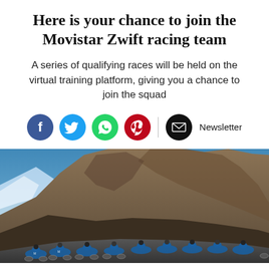Here is your chance to join the Movistar Zwift racing team
A series of qualifying races will be held on the virtual training platform, giving you a chance to join the squad
[Figure (infographic): Social sharing icons: Facebook (blue), Twitter (blue), WhatsApp (green), Pinterest (red), divider, Email/Newsletter (black) with 'Newsletter' label]
[Figure (photo): Cyclists in blue Movistar team jerseys riding in a group on a virtual mountain road in Zwift, with rocky cliffs and blue sky in the background]